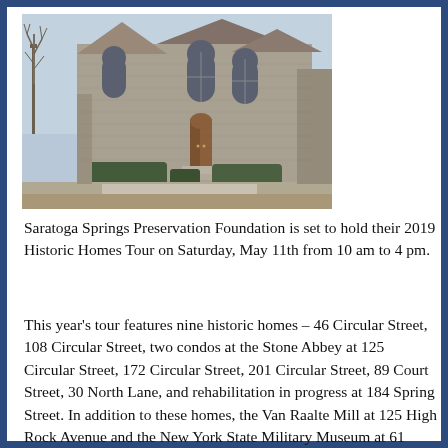[Figure (photo): Exterior photograph of a historic stone building with Gothic arched windows, wooden double doors, bare trees, and manicured hedges in the foreground. The building appears to be a church or similar stone structure photographed in early spring or winter.]
Saratoga Springs Preservation Foundation is set to hold their 2019 Historic Homes Tour on Saturday, May 11th from 10 am to 4 pm.
This year's tour features nine historic homes – 46 Circular Street, 108 Circular Street, two condos at the Stone Abbey at 125 Circular Street, 172 Circular Street, 201 Circular Street, 89 Court Street, 30 North Lane, and rehabilitation in progress at 184 Spring Street. In addition to these homes, the Van Raalte Mill at 125 High Rock Avenue and the New York State Military Museum at 61 Lake Avenue, will also be featured.